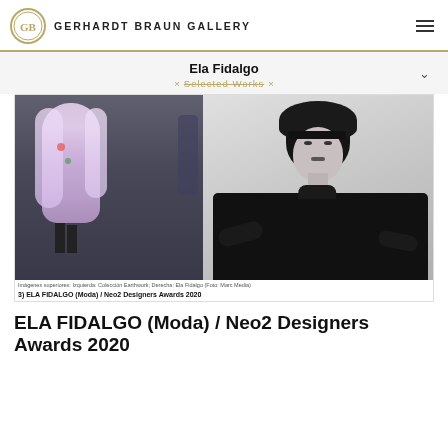GERHARDT BRAUN GALLERY
Ela Fidalgo
× Selected Works ×
[Figure (photo): Two photos side by side: left shows a model in a colorful pink/purple feathered coat on a runway backstage area; right is a black and white portrait of Ela Fidalgo wearing a black beret and black top, arms crossed.]
Imágenes superiores: Izquierda: Colección Earthwork; Derecha: Ela Fidalgo (Foto: Marc Media)
3) ELA FIDALGO (Moda) / Neo2 Designers Awards 2020
ELA FIDALGO (Moda) / Neo2 Designers Awards 2020